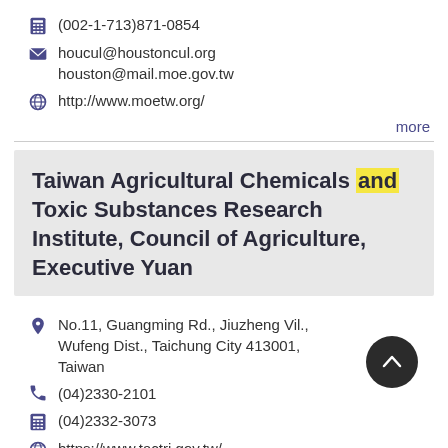(002-1-713)871-0854
houcul@houstoncul.org
houston@mail.moe.gov.tw
http://www.moetw.org/
more
Taiwan Agricultural Chemicals and Toxic Substances Research Institute, Council of Agriculture, Executive Yuan
No.11, Guangming Rd., Jiuzheng Vil., Wufeng Dist., Taichung City 413001, Taiwan
(04)2330-2101
(04)2332-3073
https://www.tactri.gov.tw/
more